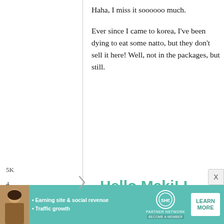Haha, I miss it soooooo much. Ever since I came to korea, I've been dying to eat some natto, but they don't sell it here! Well, not in the packages, but still.
5K
4
October,
2008 –
Hello Maki! I have been
[Figure (infographic): SHE partner network advertisement banner with woman photo, bullet points about earning site & social revenue and traffic growth, SHE logo, and LEARN MORE button]